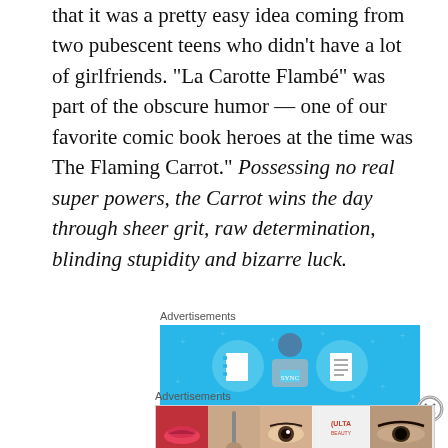that it was a pretty easy idea coming from two pubescent teens who didn't have a lot of girlfriends. “La Carotte Flambé” was part of the obscure humor — one of our favorite comic book heroes at the time was The Flaming Carrot.” Possessing no real super powers, the Carrot wins the day through sheer grit, raw determination, blinding stupidity and bizarre luck.
Advertisements
[Figure (illustration): Advertisement banner with light blue background showing a cartoon person holding something, flanked by two circular icons depicting a notebook and a list/document.]
Advertisements
[Figure (photo): Advertisement strip showing makeup/beauty images including lips with lipstick, makeup brush, eye with mascara, Ulta Beauty logo, and close-up eyes, with SHOP NOW button.]